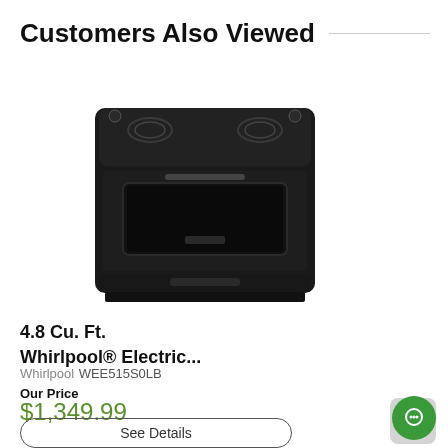Customers Also Viewed
[Figure (photo): Black Whirlpool electric range/stove with smooth glass cooktop and oven window]
4.8 Cu. Ft. Whirlpool® Electric...
Whirlpool WEE515S0LB
Our Price
$1,349.99
See Details